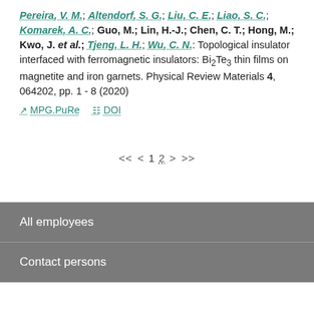Pereira, V. M.; Altendorf, S. G.; Liu, C. E.; Liao, S. C.; Komarek, A. C.; Guo, M.; Lin, H.-J.; Chen, C. T.; Hong, M.; Kwo, J. et al.; Tjeng, L. H.; Wu, C. N.: Topological insulator interfaced with ferromagnetic insulators: Bi2Te3 thin films on magnetite and iron garnets. Physical Review Materials 4, 064202, pp. 1 - 8 (2020)
MPG.PuRe   DOI
<< < 1 2 > >>
All employees
Contact persons